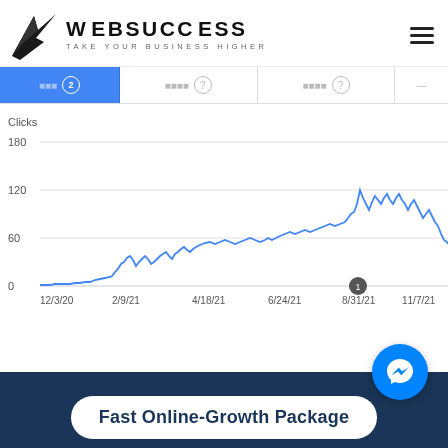[Figure (logo): WebSuccess logo: dark bird/arrow shape on left, text WEBSUCCESS in bold with tagline TAKE YOUR BUSINESS HIGHER]
[Figure (screenshot): Google Search Console tab bar showing active Clicks tab with circled number 2, and two other partially visible tabs with question mark icons]
[Figure (line-chart): Line chart showing website clicks from 12/3/20 to beyond 11/7/21. Starts near 0, grows from ~2/9/21 onward, peaks around 120 near 8/31/21, remains elevated 60-100 range through 11/7/21.]
Fast Online-Growth Package